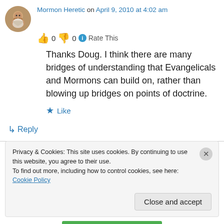Mormon Heretic on April 9, 2010 at 4:02 am
👍 0 👎 0 ℹ Rate This
Thanks Doug. I think there are many bridges of understanding that Evangelicals and Mormons can build on, rather than blowing up bridges on points of doctrine.
★ Like
↳ Reply
Privacy & Cookies: This site uses cookies. By continuing to use this website, you agree to their use. To find out more, including how to control cookies, see here: Cookie Policy
Close and accept